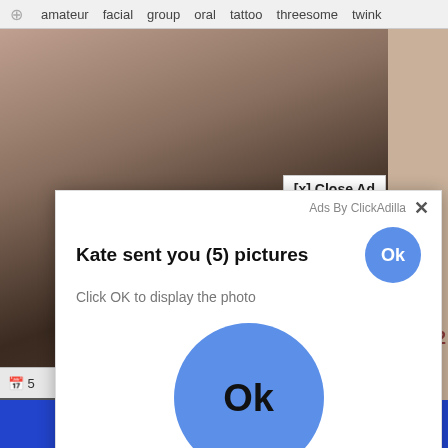# amateur  facial  group  oral  tattoo  threesome  twink
[Figure (screenshot): Background screenshot of adult video website with blurred photo content]
[x] Close Ad
[Figure (screenshot): Popup advertisement overlay: 'Ads By ClickAdilla' with X close button. Text: 'Kate sent you (5) pictures'. 'Click OK to display the photo'. Small blue Ok button top right. Large blue Ok button in center of popup.]
nny2
6:10
oo
2sd